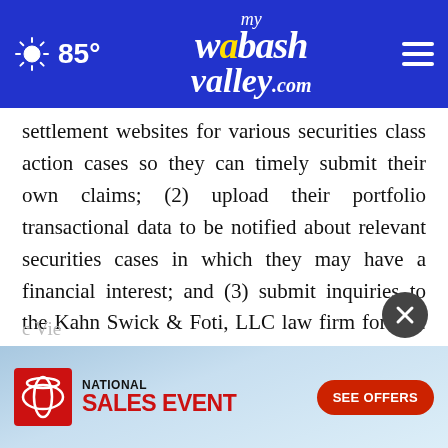85° mywabashvalley.com
settlement websites for various securities class action cases so they can timely submit their own claims; (2) upload their portfolio transactional data to be notified about relevant securities cases in which they may have a financial interest; and (3) submit inquiries to the Kahn Swick & Foti, LLC law firm for free case evaluations.

To learn more about ClaimsFiler, visit www.claimsfiler.com.
[Figure (infographic): Toyota National Sales Event advertisement banner with Toyota logo, red 'NATIONAL SALES EVENT' text, and red 'SEE OFFERS' button]
View